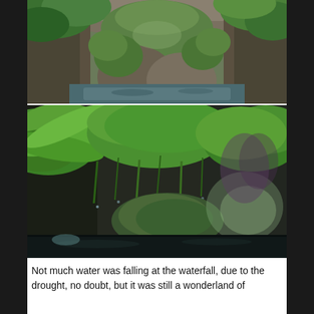[Figure (photo): Top photo: A rocky gorge or canyon covered in dense green vegetation and ferns, with a narrow stream or pool of water visible at the bottom between mossy rock walls.]
[Figure (photo): Bottom photo: A lush cave or grotto scene with large fern fronds hanging from dark rock walls, water dripping down, and a dark pool in the foreground. Very green and wet environment.]
Not much water was falling at the waterfall, due to the drought, no doubt, but it was still a wonderland of